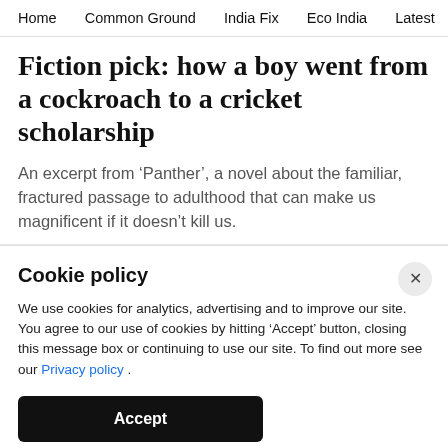Home  Common Ground  India Fix  Eco India  Latest  Th
Fiction pick: how a boy went from a cockroach to a cricket scholarship
An excerpt from ‘Panther’, a novel about the familiar, fractured passage to adulthood that can make us magnificent if it doesn’t kill us.
Cookie policy
We use cookies for analytics, advertising and to improve our site. You agree to our use of cookies by hitting ‘Accept’ button, closing this message box or continuing to use our site. To find out more see our Privacy policy .
Accept